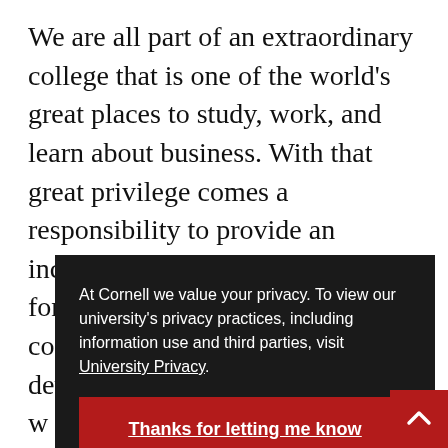We are all part of an extraordinary college that is one of the world's great places to study, work, and learn about business. With that great privilege comes a responsibility to provide an inclusive and equitable experience for all of our students and colleagues, and to strive to develop people-centered leaders w... so... th... ro... W... make our college and our society a better
At Cornell we value your privacy. To view our university's privacy practices, including information use and third parties, visit University Privacy.
Thanks for letting me know